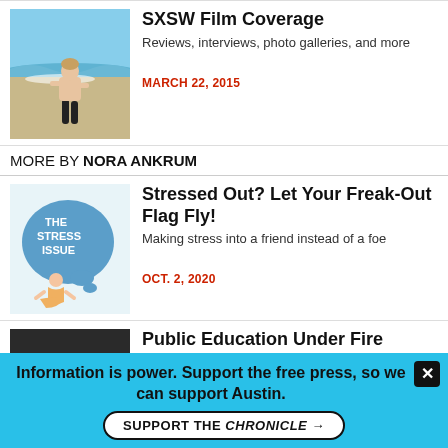[Figure (photo): Man standing on beach in black swim trunks with ocean waves behind him]
SXSW Film Coverage
Reviews, interviews, photo galleries, and more
MARCH 22, 2015
MORE BY NORA ANKRUM
[Figure (illustration): Illustration for 'The Stress Issue' showing a meditating person with blue speech bubble]
Stressed Out? Let Your Freak-Out Flag Fly!
Making stress into a friend instead of a foe
OCT. 2, 2020
[Figure (photo): Person wearing purple cap speaking at a podium/microphone]
Public Education Under Fire
New doc Starving the Beast uncovers ideological clash
MARCH 11, 2016
Information is power. Support the free press, so we can support Austin.
SUPPORT THE CHRONICLE →